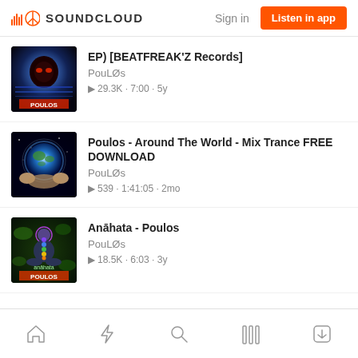SOUNDCLOUD  Sign in  Listen in app
EP) [BEATFREAK'Z Records] · PouLØs · 29.3K · 7:00 · 5y
Poulos - Around The World - Mix Trance FREE DOWNLOAD · PouLØs · 539 · 1:41:05 · 2mo
Anāhata - Poulos · PouLØs · 18.5K · 6:03 · 3y
Home | Stream | Search | Library | Downloads